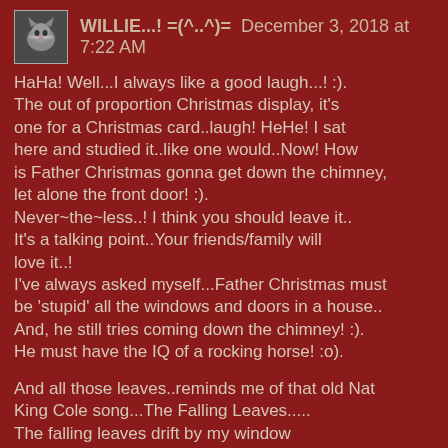WILLIE...! =(^..^)=  December 3, 2018 at 7:22 AM
HaHa! Well...I always like a good laugh...! :).
The out of proportion Christmas display, it's
one for a Christmas card..laugh! HeHe! I sat
here and studied it..like one would..Now! How
is Father Christmas gonna get down the chimney,
let alone the front door! :).
Never~the~less..! I think you should leave it..
It's a talking point..Your friends/family will
love it..!
I've always asked myself...Father Christmas must
be 'stupid' all the windows and doors in a house..
And, he still tries coming down the chimney! :).
He must have the IQ of a rocking horse! :o).

And all those leaves..reminds me of that old Nat
King Cole song...The Falling Leaves.....
The falling leaves drift by my window
The falling leaves of red and gold
I see your lips the summer kisses
The sunburned hands I used to hold
Since you went away the days grow long